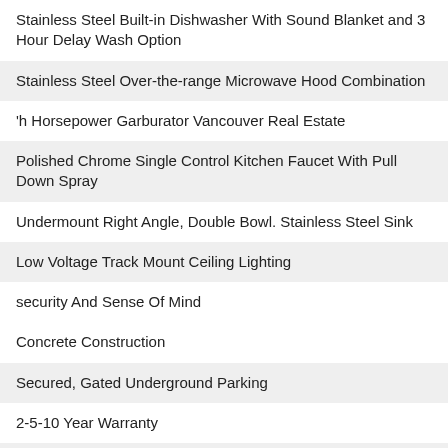Stainless Steel Built-in Dishwasher With Sound Blanket and 3 Hour Delay Wash Option
Stainless Steel Over-the-range Microwave Hood Combination
'h Horsepower Garburator Vancouver Real Estate
Polished Chrome Single Control Kitchen Faucet With Pull Down Spray
Undermount Right Angle, Double Bowl. Stainless Steel Sink
Low Voltage Track Mount Ceiling Lighting
security And Sense Of Mind
Concrete Construction
Secured, Gated Underground Parking
2-5-10 Year Warranty
Smoke Detectors In All Homes And Common Areas
Pre-wired For High Speed Cable And Adsl - fire Rated Entry Door
tranquil Ensuite I Bathroom
Flat Stock Base Boards For A Contemporary Look